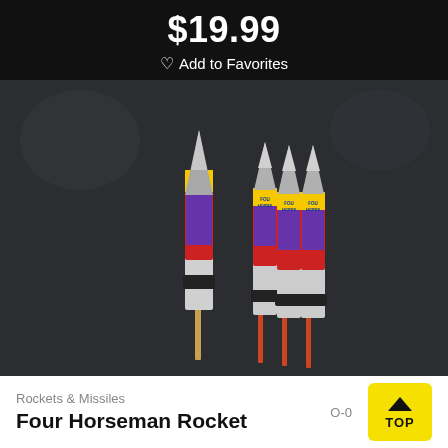$19.99
♡ Add to Favorites
[Figure (photo): Four Horseman Rocket fireworks product: one tall rocket on left and three bundled rockets on right, each with colorful purple/red/yellow packaging and red sticks, against a dark background]
Rockets & Missiles
Four Horseman Rocket
O-0